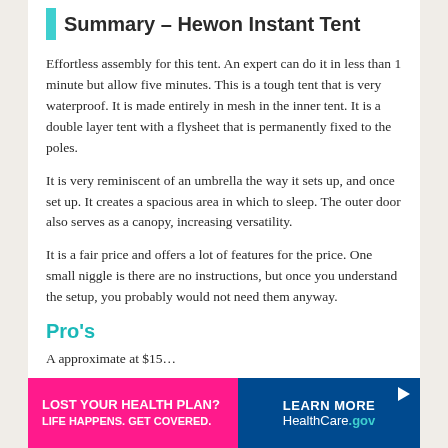Summary – Hewon Instant Tent
Effortless assembly for this tent. An expert can do it in less than 1 minute but allow five minutes. This is a tough tent that is very waterproof. It is made entirely in mesh in the inner tent. It is a double layer tent with a flysheet that is permanently fixed to the poles.
It is very reminiscent of an umbrella the way it sets up, and once set up. It creates a spacious area in which to sleep. The outer door also serves as a canopy, increasing versatility.
It is a fair price and offers a lot of features for the price. One small niggle is there are no instructions, but once you understand the setup, you probably would not need them anyway.
Pro's
A approximate at $15…
[Figure (other): Advertisement banner: LOST YOUR HEALTH PLAN? LIFE HAPPENS. GET COVERED. | LEARN MORE HealthCare.gov]